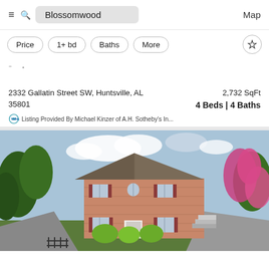Blossomwood  Map
Price  1+ bd  Baths  More
- .  -
2332 Gallatin Street SW, Huntsville, AL 35801  2,732 SqFt  4 Beds | 4 Baths
Listing Provided By Michael Kinzer of A.H. Sotheby's In...
[Figure (photo): Exterior photo of a two-story brick house at 2332 Gallatin Street SW, Huntsville, AL. The home features a hip roof with gray shingles, arched window over the front entrance, brick facade, green shrubs in front, a driveway on the right, and is surrounded by mature green trees and pink flowering crepe myrtles. The sky is partly cloudy.]